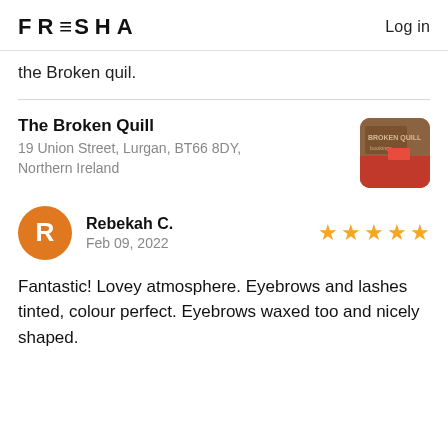FRESHA  Log in
the Broken quil.
The Broken Quill
19 Union Street, Lurgan, BT66 8DY, Northern Ireland
[Figure (photo): Thumbnail photo of The Broken Quill business]
[Figure (other): Reviewer avatar with letter R on orange background]
Rebekah C.
Feb 09, 2022
[Figure (other): 5 gold star rating]
Fantastic! Lovey atmosphere. Eyebrows and lashes tinted, colour perfect. Eyebrows waxed too and nicely shaped.